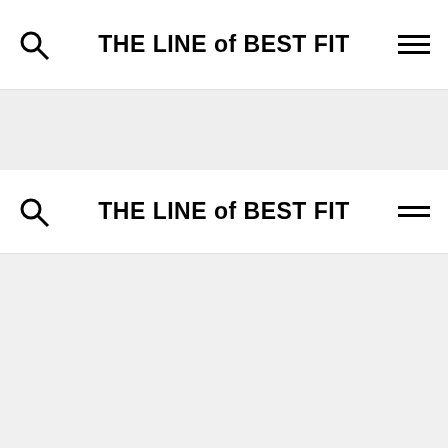THE LINE of BEST FIT
THE LINE of BEST FIT